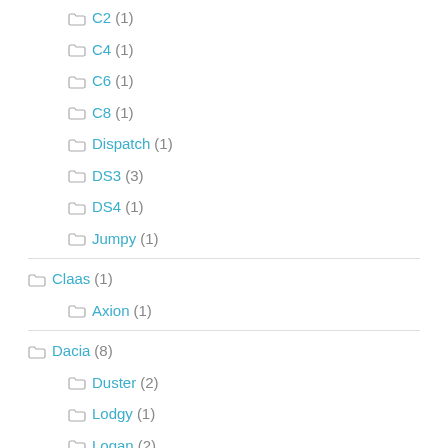C2 (1)
C4 (1)
C6 (1)
C8 (1)
Dispatch (1)
DS3 (3)
DS4 (1)
Jumpy (1)
Claas (1)
Axion (1)
Dacia (8)
Duster (2)
Lodgy (1)
Logan (2)